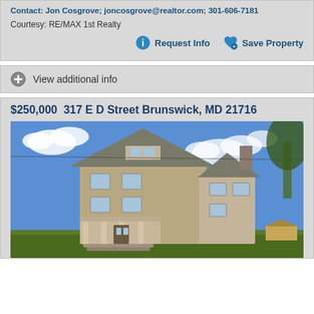Contact: Jon Cosgrove; joncosgrove@realtor.com; 301-606-7181
Courtesy: RE/MAX 1st Realty
Request Info  Save Property
View additional info
$250,000  317 E D Street Brunswick, MD 21716
[Figure (photo): Exterior photo of a two-story brick/stone house at 317 E D Street, Brunswick, MD 21716, with a front porch, blue sky with clouds, and green lawn.]